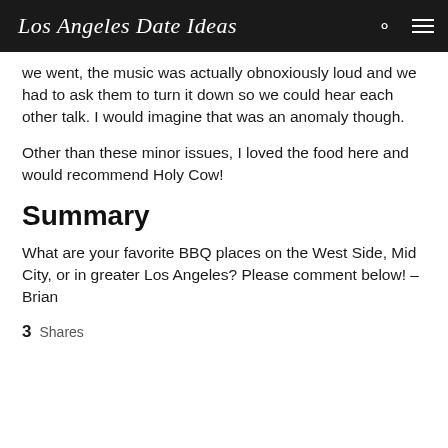Los Angeles Date Ideas
we went, the music was actually obnoxiously loud and we had to ask them to turn it down so we could hear each other talk. I would imagine that was an anomaly though.
Other than these minor issues, I loved the food here and would recommend Holy Cow!
Summary
What are your favorite BBQ places on the West Side, Mid City, or in greater Los Angeles? Please comment below! – Brian
3  Shares